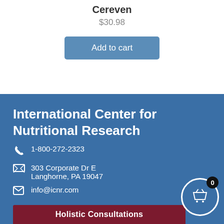Cereven
$30.98
Add to cart
International Center for Nutritional Research
1-800-272-2323
303 Corporate Dr E
Langhorne, PA 19047
info@icnr.com
Holistic Consultations